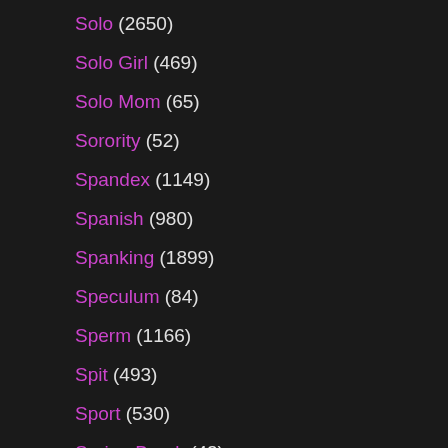Solo (2650)
Solo Girl (469)
Solo Mom (65)
Sorority (52)
Spandex (1149)
Spanish (980)
Spanking (1899)
Speculum (84)
Sperm (1166)
Spit (493)
Sport (530)
Spring Break (43)
Spy Cam (303)
Spying (772)
Squirting (3537)
Squirting Compilation (59)